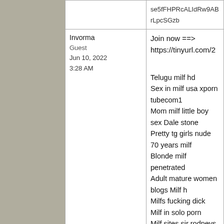|  | User | Content |
| --- | --- | --- |
|  |  | se5fFHPRcALIdRw9ABrLpcSGzb... |
|  | Invorma
Guest
Jun 10, 2022
3:28 AM | Join now ==> https://tinyurl.com/2...

Telugu milf hd
Sex in milf usa xporn tubecom1
Mom milf little boy sex Dale stone
Pretty tg girls nude 70 years milf
Blonde milf penetrated
Adult mature women blogs Milf h...
Milfs fucking dick
Milf in solo porn
Milf sites sir rodneys
Asain milf xxx

2l2Ta5EwH27bTJEUNZISTos35w... |
|  | Invorma
Guest
Jun 10, 2022
3:35 AM | Join now ==> https://tinyurl.com/2...

Black bros and milf hoes
Forex for milfs
Lonley milf fuck 15
Blonded milf mature gangbang
Drunk milf fucking
... |